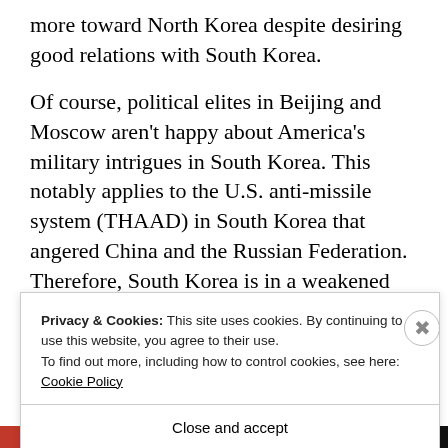more toward North Korea despite desiring good relations with South Korea.
Of course, political elites in Beijing and Moscow aren't happy about America's military intrigues in South Korea. This notably applies to the U.S. anti-missile system (THAAD) in South Korea that angered China and the Russian Federation. Therefore, South Korea is in a weakened
P...
Privacy & Cookies: This site uses cookies. By continuing to use this website, you agree to their use.
To find out more, including how to control cookies, see here: Cookie Policy
Close and accept